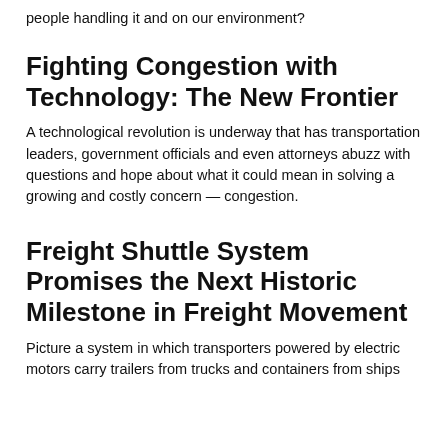people handling it and on our environment?
Fighting Congestion with Technology: The New Frontier
A technological revolution is underway that has transportation leaders, government officials and even attorneys abuzz with questions and hope about what it could mean in solving a growing and costly concern — congestion.
Freight Shuttle System Promises the Next Historic Milestone in Freight Movement
Picture a system in which transporters powered by electric motors carry trailers from trucks and containers from ships